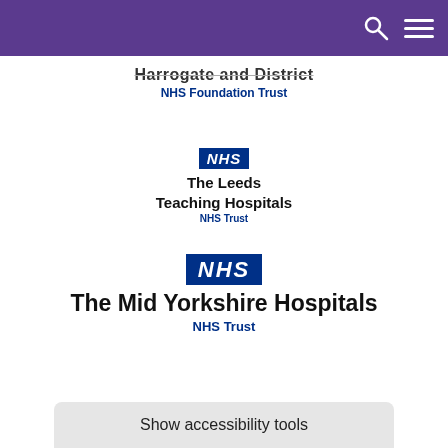[Figure (logo): Purple navigation bar with search and menu icons]
[Figure (logo): Harrogate and District NHS Foundation Trust logo — text on white background]
[Figure (logo): The Leeds Teaching Hospitals NHS Trust logo — blue NHS badge above org name]
[Figure (logo): The Mid Yorkshire Hospitals NHS Trust logo — large blue NHS badge above org name]
Show accessibility tools